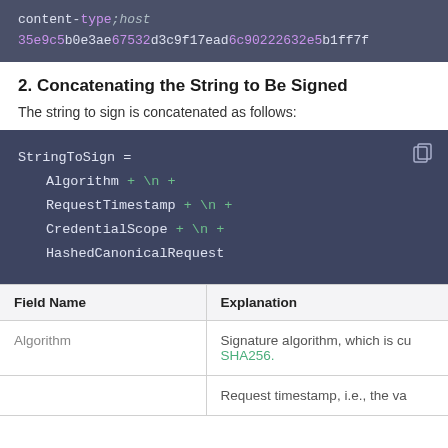[Figure (screenshot): Dark code block showing: content-type;host on first line, then hash value 35e9c5b0e3ae67532d3c9f17ead6c90222632e5b1ff7f with colored segments]
2. Concatenating the String to Be Signed
The string to sign is concatenated as follows:
[Figure (screenshot): Dark code block showing StringToSign = Algorithm + \n + RequestTimestamp + \n + CredentialScope + \n + HashedCanonicalRequest]
| Field Name | Explanation |
| --- | --- |
| Algorithm | Signature algorithm, which is cu SHA256. |
|  | Request timestamp, i.e., the va |